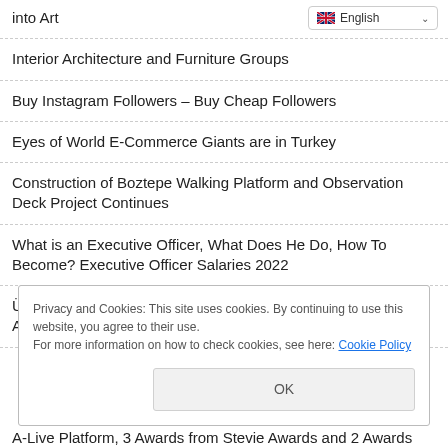into Art
English (language selector)
Interior Architecture and Furniture Groups
Buy Instagram Followers – Buy Cheap Followers
Eyes of World E-Commerce Giants are in Turkey
Construction of Boztepe Walking Platform and Observation Deck Project Continues
What is an Executive Officer, What Does He Do, How To Become? Executive Officer Salaries 2022
Üçkuyu Village Life Center and Primary School Opened in Avano
Privacy and Cookies: This site uses cookies. By continuing to use this website, you agree to their use.
For more information on how to check cookies, see here: Cookie Policy
OK
A-Live Platform, 3 Awards from Stevie Awards and 2 Awards